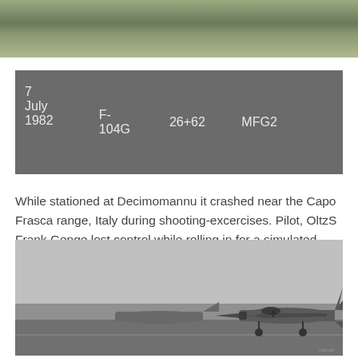[Figure (photo): Top portion of a photo showing green grassy terrain or airfield ground]
| Date | Aircraft | Serial | Unit |  |
| --- | --- | --- | --- | --- |
| 7 July 1982 | F-104G | 26+62 | MFG2 |  |
While stationed at Decimomannu it crashed near the Capo Frasca range, Italy during shooting-excercises. Pilot, OltzS Frank Genge lost control while rolling in for a simulated bomb delivery and ejected safely. The aircraft crashed into the sea.
[Figure (photo): Black and white photograph of an F-104G Starfighter aircraft with German Luftwaffe markings (Iron Cross) on the tarmac]